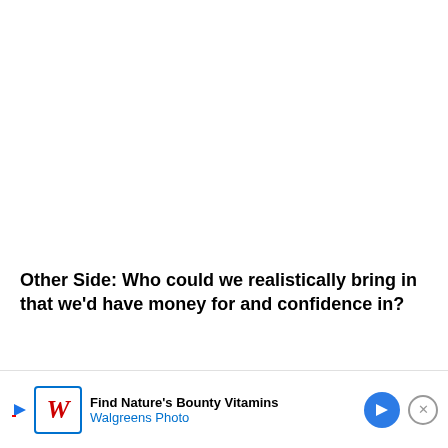Other Side: Who could we realistically bring in that we'd have money for and confidence in?
This is the most talked about situation, and it's obvious why. On one hand you have a coach that had a historically bad season, but also dealt with injuries, NCAA and th…